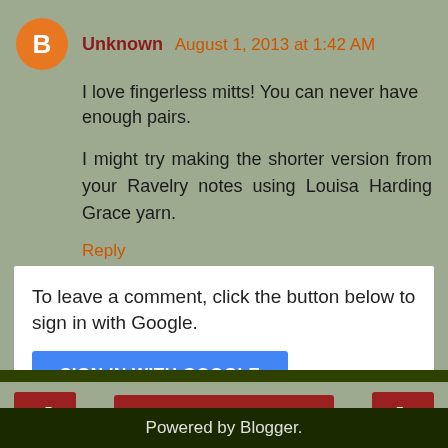Unknown August 1, 2013 at 1:42 AM
I love fingerless mitts! You can never have enough pairs.
I might try making the shorter version from your Ravelry notes using Louisa Harding Grace yarn.
Reply
To leave a comment, click the button below to sign in with Google.
SIGN IN WITH GOOGLE
Home
View web version
Powered by Blogger.